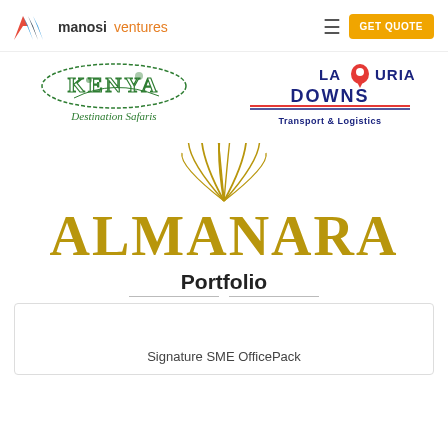manosi ventures | GET QUOTE
[Figure (logo): Kenya Destination Safaris logo - green text with wildlife silhouette]
[Figure (logo): Lafronta Downs Transport & Logistics logo - blue and orange text with location pin icon]
[Figure (logo): ALMANARA logo - gold stylized text with wheat/palm leaf graphic above]
Portfolio
Signature SME OfficePack